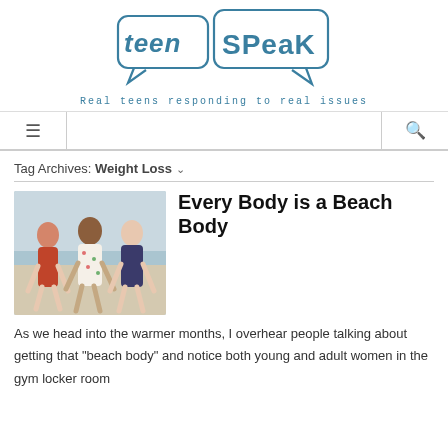[Figure (logo): Teen Speak logo — two speech bubbles with 'teen' and 'Speak' in hand-drawn teal lettering]
Real teens responding to real issues
≡  [navigation bar]  🔍
Tag Archives: Weight Loss ∨
[Figure (photo): Three young women of different body types walking on a beach, smiling, wearing summer dresses]
Every Body is a Beach Body
As we head into the warmer months, I overhear people talking about getting that "beach body" and notice both young and adult women in the gym locker room